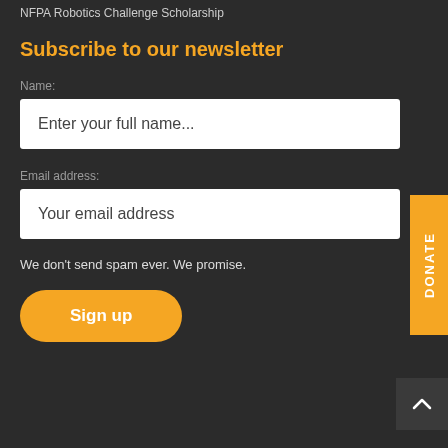NFPA Robotics Challenge Scholarship
Subscribe to our newsletter
Name:
Enter your full name...
Email address:
Your email address
We don't send spam ever. We promise.
Sign up
DONATE